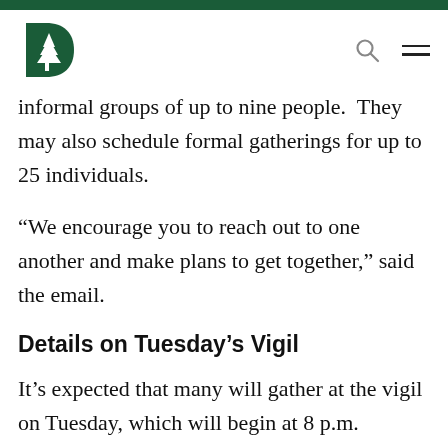Dartmouth College — navigation header with logo, search, and menu icons
informal groups of up to nine people. They may also schedule formal gatherings for up to 25 individuals.
“We encourage you to reach out to one another and make plans to get together,” said the email.
Details on Tuesday’s Vigil
It’s expected that many will gather at the vigil on Tuesday, which will begin at 8 p.m.